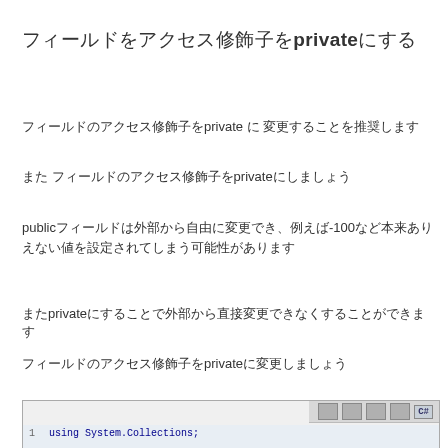フィールドをprivateにする
フィールドのアクセス修飾子をprivate に 変更することを推奨します
また フィールドのアクセス修飾子をprivateにしましょう
publicフィールドは外部から自由に変更でき、例えば-100など本来ありえない値を設定されてしまう可能性があります
またprivateにすることで外部から直接変更できなくすることができます
フィールドのアクセス修飾子をprivateに変更しましょう
[Figure (screenshot): Code editor screenshot showing C# code with line number 1 and 'using System.Collections;' in blue monospace font, with toolbar icons visible]